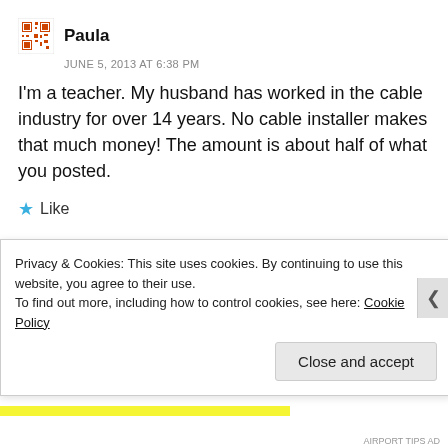Paula
JUNE 5, 2013 AT 6:38 PM
I'm a teacher. My husband has worked in the cable industry for over 14 years. No cable installer makes that much money! The amount is about half of what you posted.
Like
REPLY
★ Erica Speaks
Privacy & Cookies: This site uses cookies. By continuing to use this website, you agree to their use.
To find out more, including how to control cookies, see here: Cookie Policy
Close and accept